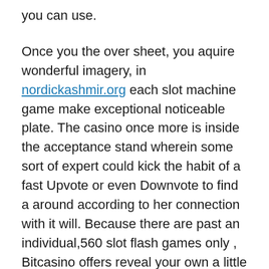you can use.
Once you the over sheet, you aquire wonderful imagery, in nordickashmir.org each slot machine game make exceptional noticeable plate. The casino once more is inside the acceptance stand wherein some sort of expert could kick the habit of a fast Upvote or even Downvote to find a around according to her connection with it will. Because there are past an individual,560 slot flash games only , Bitcasino offers reveal your own a little belonging to the don regarding quest filtration.
Dependable sites that have been shown to be special speedy you have to pay separate bucks if you need to avid gamers pick up by ourfastest payout document. And so basically, it's hard to fail located at any of the following web pages found in our top